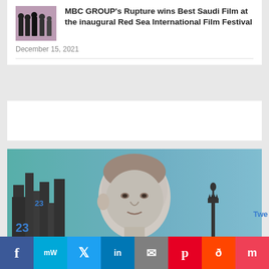[Figure (photo): Thumbnail photo of people at an awards ceremony]
MBC GROUP's Rupture wins Best Saudi Film at the inaugural Red Sea International Film Festival
December 15, 2021
[Figure (photo): Black and white portrait of an older man with city skyline silhouette including Statue of Liberty in the background]
23 Shares
23
Twe
[Figure (screenshot): Social media share bar with icons: Facebook, MW, Twitter, LinkedIn, Email, Pinterest, Reddit, Mix, WhatsApp]